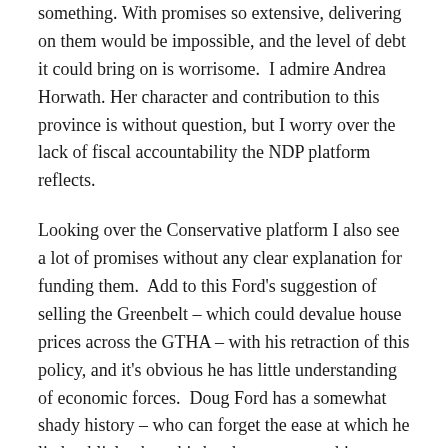something. With promises so extensive, delivering on them would be impossible, and the level of debt it could bring on is worrisome.  I admire Andrea Horwath. Her character and contribution to this province is without question, but I worry over the lack of fiscal accountability the NDP platform reflects.
Looking over the Conservative platform I also see a lot of promises without any clear explanation for funding them.  Add to this Ford's suggestion of selling the Greenbelt – which could devalue house prices across the GTHA – with his retraction of this policy, and it's obvious he has little understanding of economic forces.  Doug Ford has a somewhat shady history – who can forget the ease at which he lied publicly about his brother never touching drugs? He lacks integrity, and I worry he'll make backroom deals that would threaten the open and just system of balanced government we have achieved in the last decade.
By chance I found a printed copy of the Green Party 2018